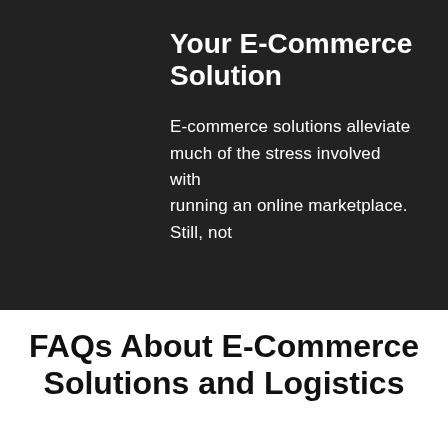Your E-Commerce Solution
E-commerce solutions alleviate much of the stress involved with running an online marketplace. Still, not
FAQs About E-Commerce Solutions and Logistics